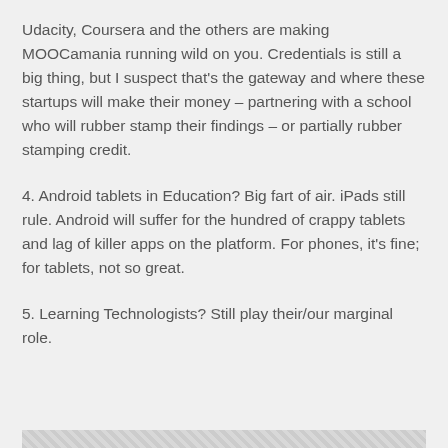Udacity, Coursera and the others are making MOOCamania running wild on you. Credentials is still a big thing, but I suspect that's the gateway and where these startups will make their money – partnering with a school who will rubber stamp their findings – or partially rubber stamping credit.
4. Android tablets in Education? Big fart of air. iPads still rule. Android will suffer for the hundred of crappy tablets and lag of killer apps on the platform. For phones, it's fine; for tablets, not so great.
5. Learning Technologists? Still play their/our marginal role.